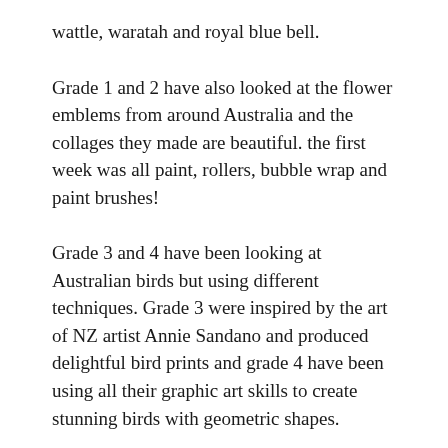wattle, waratah and royal blue bell.
Grade 1 and 2 have also looked at the flower emblems from around Australia and the collages they made are beautiful. the first week was all paint, rollers, bubble wrap and paint brushes!
Grade 3 and 4 have been looking at Australian birds but using different techniques. Grade 3 were inspired by the art of NZ artist Annie Sandano and produced delightful bird prints and grade 4 have been using all their graphic art skills to create stunning birds with geometric shapes.